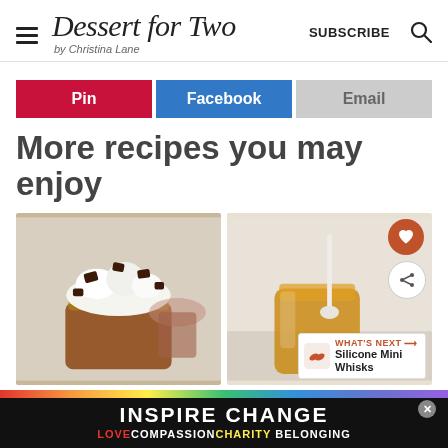Dessert for Two by Christina Lane — SUBSCRIBE
[Figure (infographic): Three social share buttons: Pin (red), Facebook (blue), Email (gray)]
More recipes you may enjoy
[Figure (photo): Two recipe photos side by side: left shows chocolate mousse dessert in a glass jar with whipped cream and chocolate chunks; right shows caramel sauce in a small glass jar with a spoon]
WHAT'S NEXT → Silicone Mini Whisks
[Figure (infographic): Ad banner: INSPIRE CHANGE with rainbow gradient, LOVE COMPASSION CHARITY BELONGING below]